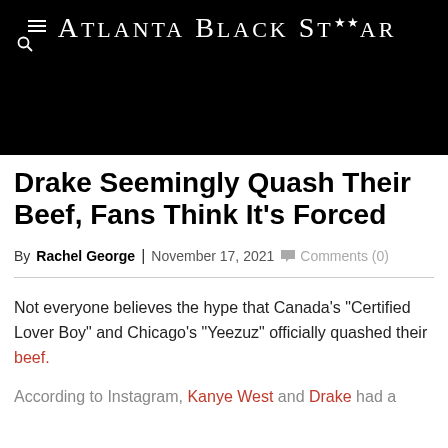Atlanta Black Star
Drake Seemingly Quash Their Beef, Fans Think It's Forced
By Rachel George | November 17, 2021  Comments (0)
Not everyone believes the hype that Canada's “Certified Lover Boy” and Chicago’s “Yeezuz” officially quashed their beef.
According to Instagram, Kanye West and Drake had a